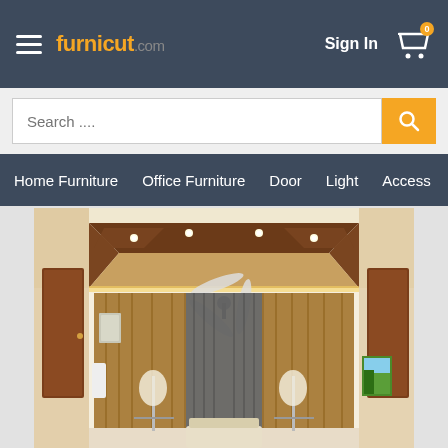[Figure (screenshot): Furnicut.com website header with hamburger menu, logo, Sign In, and cart icon with badge '0']
[Figure (screenshot): Search bar with placeholder 'Search ....' and orange search button]
Home Furniture   Office Furniture   Door   Light   Access
[Figure (photo): Interior photo of a modern living room with decorative false ceiling with wooden panels and recessed lighting, a ceiling fan, curtains, sofa, and artwork on wall]